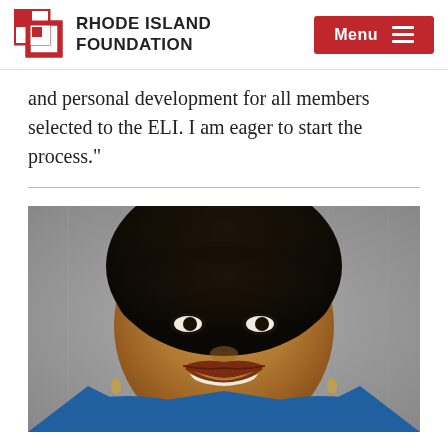RHODE ISLAND FOUNDATION
and personal development for all members selected to the ELI. I am eager to start the process."
[Figure (photo): Portrait photograph of a young Black woman smiling, wearing a blue top, with a grey stone background.]